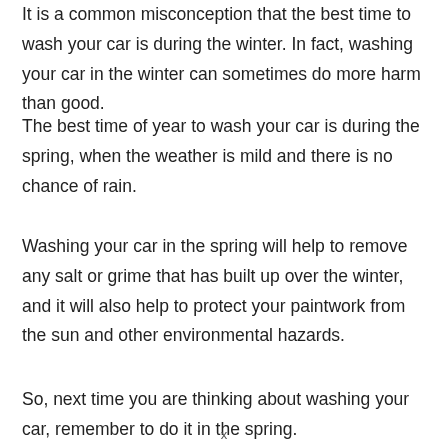It is a common misconception that the best time to wash your car is during the winter. In fact, washing your car in the winter can sometimes do more harm than good.
The best time of year to wash your car is during the spring, when the weather is mild and there is no chance of rain.
Washing your car in the spring will help to remove any salt or grime that has built up over the winter, and it will also help to protect your paintwork from the sun and other environmental hazards.
So, next time you are thinking about washing your car, remember to do it in the spring.
x